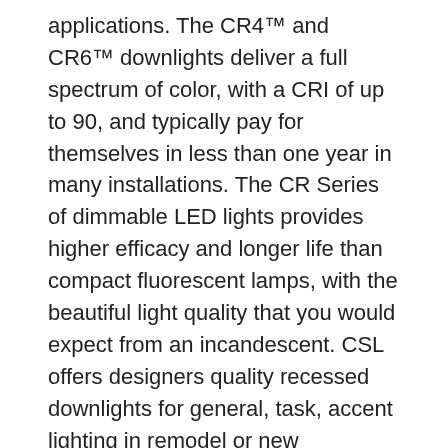applications. The CR4™ and CR6™ downlights deliver a full spectrum of color, with a CRI of up to 90, and typically pay for themselves in less than one year in many installations. The CR Series of dimmable LED lights provides higher efficacy and longer life than compact fluorescent lamps, with the beautiful light quality that you would expect from an incandescent. CSL offers designers quality recessed downlights for general, task, accent lighting in remodel or new construction projects.
Sign up to our mailing list to receive setup tips, product launches and exclusive offers. Blue light is not all bad – it'll help you stay alert if you need to push through for that all nighter. Some believe orange makes you more creative, purple more peaceful. With our Day & Dusk app feature helping your circadian rhythm, and the deepest amber assists your melatonin production before bedtime, LIFX is a good choice for a good night's sleep. LEDs are